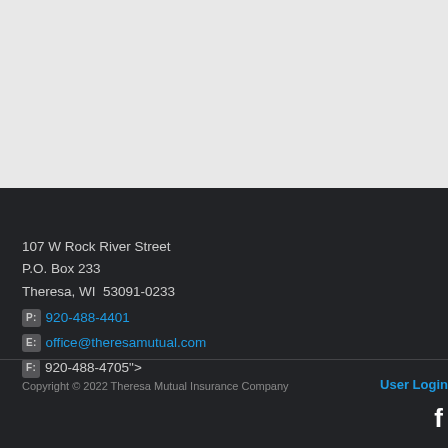107 W Rock River Street
P.O. Box 233
Theresa, WI  53091-0233
P: 920-488-4401
E: office@theresamutual.com
F: 920-488-4705">
Copyright © 2022 Theresa Mutual Insurance Company   User Login